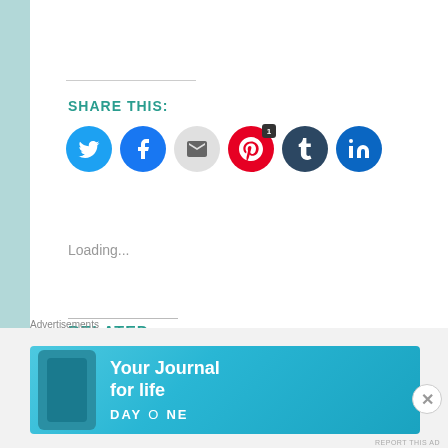REPORT THIS AD
SHARE THIS:
[Figure (illustration): Social share buttons: Twitter (blue), Facebook (blue), Email (gray), Pinterest (red with badge 1), Tumblr (dark navy), LinkedIn (blue)]
Loading...
RELATED
Saudade in literature and
Bilingual siblings and their
Advertisements
[Figure (illustration): Day One app advertisement banner: 'Your Journal for life' with phone graphic and DAY ONE branding on teal background]